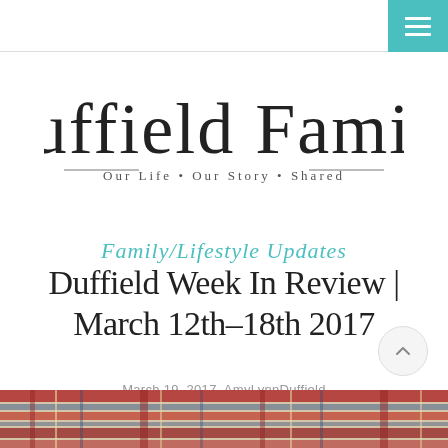Navigation bar with menu button
[Figure (logo): Duffield Family blog logo in cursive script with subtitle 'Our Life • Our Story • Shared']
Family/Lifestyle Updates
Duffield Week In Review | March 12th-18th 2017
March 19, 2017 AmyLynnDuffield
[Figure (photo): Plaid fabric pattern in red, blue, and beige tones]